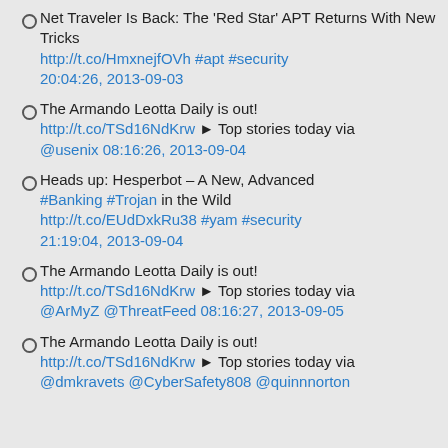Net Traveler Is Back: The 'Red Star' APT Returns With New Tricks http://t.co/HmxnejfOVh #apt #security 20:04:26, 2013-09-03
The Armando Leotta Daily is out! http://t.co/TSd16NdKrw ► Top stories today via @usenix 08:16:26, 2013-09-04
Heads up: Hesperbot – A New, Advanced #Banking #Trojan in the Wild http://t.co/EUdDxkRu38 #yam #security 21:19:04, 2013-09-04
The Armando Leotta Daily is out! http://t.co/TSd16NdKrw ► Top stories today via @ArMyZ @ThreatFeed 08:16:27, 2013-09-05
The Armando Leotta Daily is out! http://t.co/TSd16NdKrw ► Top stories today via @dmkravets @CyberSafety808 @quinnnorton